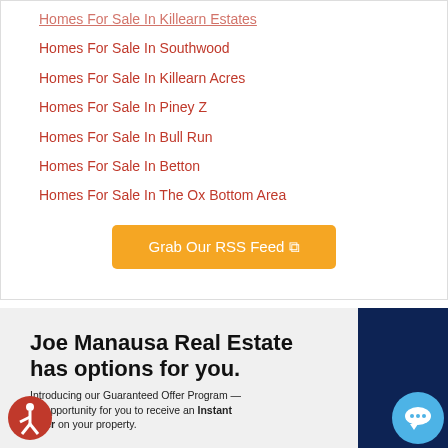Homes For Sale In Killearn Estates
Homes For Sale In Southwood
Homes For Sale In Killearn Acres
Homes For Sale In Piney Z
Homes For Sale In Bull Run
Homes For Sale In Betton
Homes For Sale In The Ox Bottom Area
Grab Our RSS Feed
Joe Manausa Real Estate has options for you.
Introducing our Guaranteed Offer Program — an opportunity for you to receive an Instant Offer on your property.